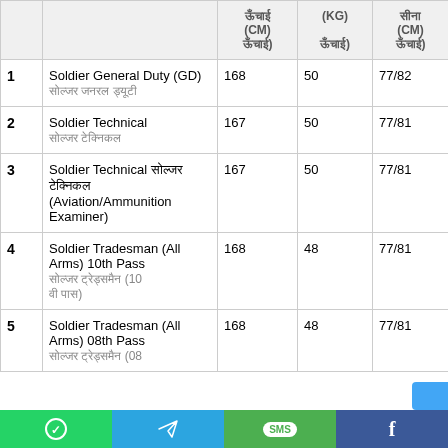|  | पद (Post) | ऊँचाई (CM) (ऊँचाई) | (KG) वजन (ऊँचाई) | सीना (CM) (ऊँचाई) |
| --- | --- | --- | --- | --- |
| 1 | Soldier General Duty (GD)
सोल्जर जनरल ड्यूटी | 168 | 50 | 77/82 |
| 2 | Soldier Technical
सोल्जर टेक्निकल | 167 | 50 | 77/81 |
| 3 | Soldier Technical सोल्जर टेक्निकल (Aviation/Ammunition Examiner) | 167 | 50 | 77/81 |
| 4 | Soldier Tradesman (All Arms) 10th Pass
सोल्जर ट्रेड्समैन (10 वी पास) | 168 | 48 | 77/81 |
| 5 | Soldier Tradesman (All Arms) 08th Pass
सोल्जर ट्रेड्समैन (08... | 168 | 48 | 77/81 |